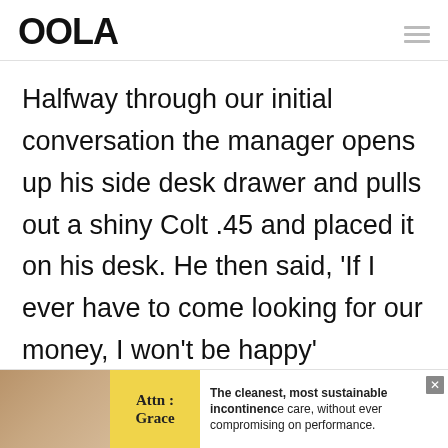OOLA
Halfway through our initial conversation the manager opens up his side desk drawer and pulls out a shiny Colt .45 and placed it on his desk. He then said, ‘If I ever have to come looking for our money, I won’t be happy’
[Figure (other): Advertisement banner at bottom of page. Shows an image of a person's torso on the left, a yellow box with text 'Attn: Grace' in the center-left, and ad copy reading 'The cleanest, most sustainable incontinence care, without ever compromising on performance.' with a close (X) button.]